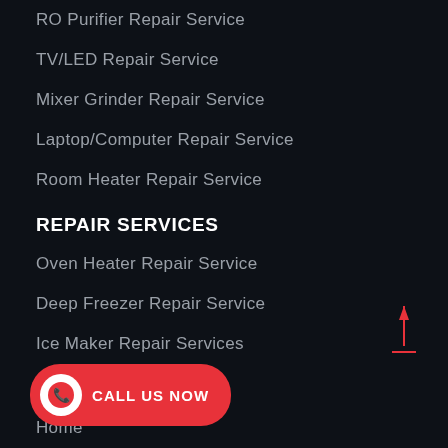RO Purifier Repair Service
TV/LED Repair Service
Mixer Grinder Repair Service
Laptop/Computer Repair Service
Room Heater Repair Service
REPAIR SERVICES
Oven Heater Repair Service
Deep Freezer Repair Service
Ice Maker Repair Services
OUR LINKS
Home
Services